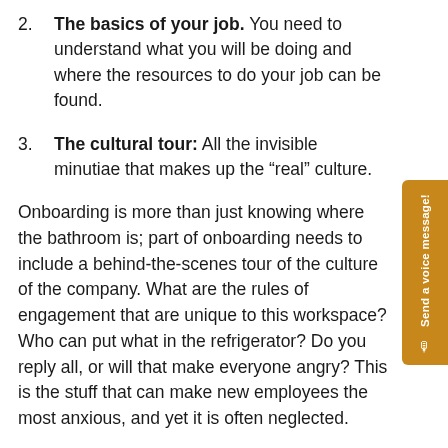2. The basics of your job. You need to understand what you will be doing and where the resources to do your job can be found.
3. The cultural tour: All the invisible minutiae that makes up the “real” culture.
Onboarding is more than just knowing where the bathroom is; part of onboarding needs to include a behind-the-scenes tour of the culture of the company. What are the rules of engagement that are unique to this workspace? Who can put what in the refrigerator? Do you reply all, or will that make everyone angry? This is the stuff that can make new employees the most anxious, and yet it is often neglected.